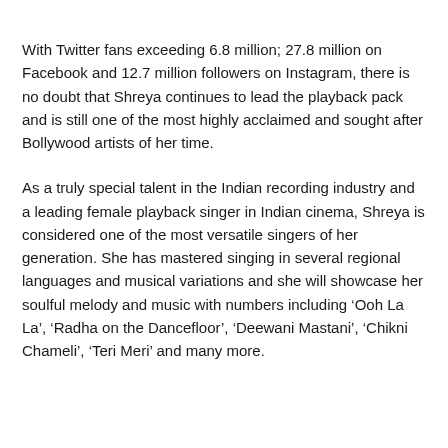With Twitter fans exceeding 6.8 million; 27.8 million on Facebook and 12.7 million followers on Instagram, there is no doubt that Shreya continues to lead the playback pack and is still one of the most highly acclaimed and sought after Bollywood artists of her time.
As a truly special talent in the Indian recording industry and a leading female playback singer in Indian cinema, Shreya is considered one of the most versatile singers of her generation. She has mastered singing in several regional languages and musical variations and she will showcase her soulful melody and music with numbers including ‘Ooh La La’, ‘Radha on the Dancefloor’, ‘Deewani Mastani’, ‘Chikni Chameli’, ‘Teri Meri’ and many more.